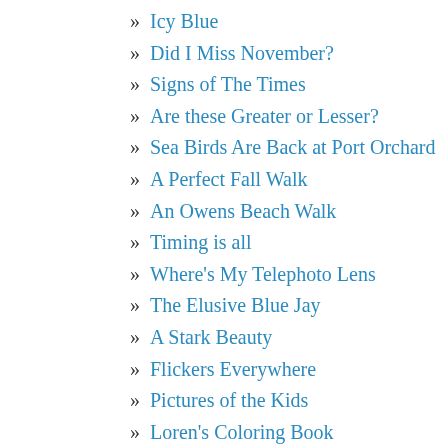» Icy Blue
» Did I Miss November?
» Signs of The Times
» Are these Greater or Lesser?
» Sea Birds Are Back at Port Orchard
» A Perfect Fall Walk
» An Owens Beach Walk
» Timing is all
» Where's My Telephoto Lens
» The Elusive Blue Jay
» A Stark Beauty
» Flickers Everywhere
» Pictures of the Kids
» Loren's Coloring Book
» Swan Island Dahlias
» A Few More Shots from Bodega Bay